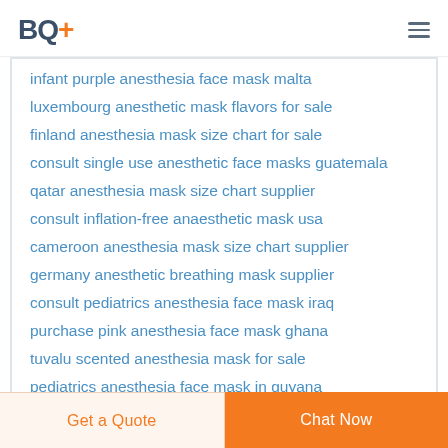BQ+
infant purple anesthesia face mask malta
luxembourg anesthetic mask flavors for sale
finland anesthesia mask size chart for sale
consult single use anesthetic face masks guatemala
qatar anesthesia mask size chart supplier
consult inflation-free anaesthetic mask usa
cameroon anesthesia mask size chart supplier
germany anesthetic breathing mask supplier
consult pediatrics anesthesia face mask iraq
purchase pink anesthesia face mask ghana
tuvalu scented anesthesia mask for sale
pediatrics anesthesia face mask in guyana
Get a Quote  Chat Now